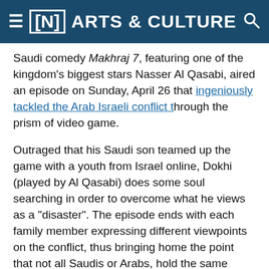≡ [N] ARTS & CULTURE 🔍
Saudi comedy Makhraj 7, featuring one of the kingdom's biggest stars Nasser Al Qasabi, aired an episode on Sunday, April 26 that ingeniously tackled the Arab Israeli conflict through the prism of video game.
Outraged that his Saudi son teamed up the game with a youth from Israel online, Dokhi (played by Al Qasabi) does some soul searching in order to overcome what he views as a "disaster". The episode ends with each family member expressing different viewpoints on the conflict, thus bringing home the point that not all Saudis or Arabs, hold the same view.